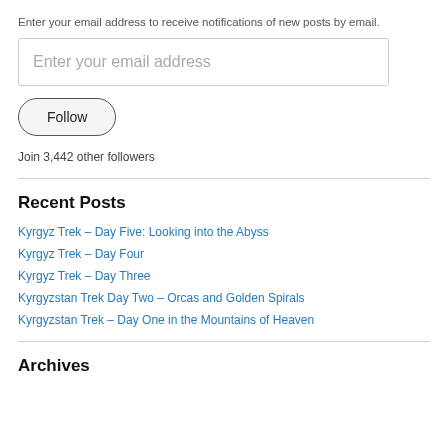Enter your email address to receive notifications of new posts by email.
Enter your email address
Follow
Join 3,442 other followers
Recent Posts
Kyrgyz Trek – Day Five: Looking into the Abyss
Kyrgyz Trek – Day Four
Kyrgyz Trek – Day Three
Kyrgyzstan Trek Day Two – Orcas and Golden Spirals
Kyrgyzstan Trek – Day One in the Mountains of Heaven
Archives